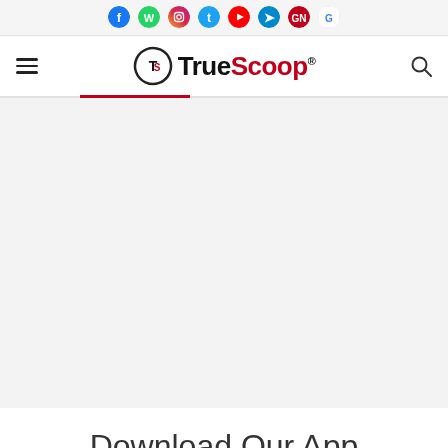[Figure (screenshot): TrueScoop news website header with social media icons bar at top, TrueScoop logo in center, hamburger menu on left, and search icon on right. Below the header is a large light gray content area. At the bottom is partial text reading 'Download Our App'.]
Download Our App